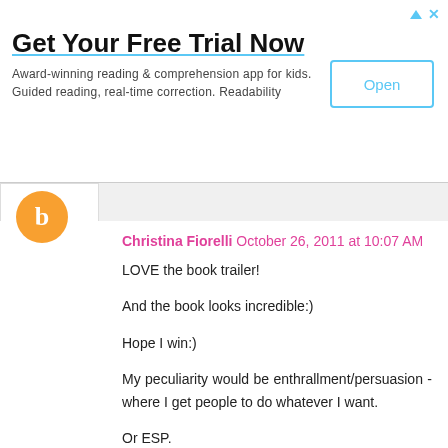[Figure (infographic): Advertisement banner: 'Get Your Free Trial Now' for an award-winning reading & comprehension app for kids. Guided reading, real-time correction. Readability. With an 'Open' button.]
Christina Fiorelli October 26, 2011 at 10:07 AM
LOVE the book trailer!

And the book looks incredible:)

Hope I win:)

My peculiarity would be enthrallment/persuasion - where I get people to do whatever I want.

Or ESP.

Both come in handy:)
Reply